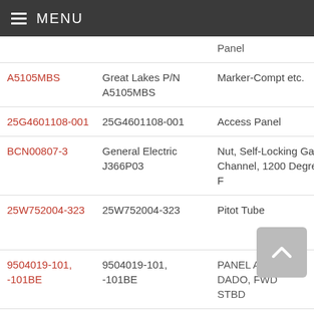MENU
| Part Number | Manufacturer P/N | Description | Manufacturer |
| --- | --- | --- | --- |
|  |  | Panel |  |
| A5105MBS | Great Lakes P/N A5105MBS | Marker-Compt etc. | Em... |
| 25G4601108-001 | 25G4601108-001 | Access Panel | Gul... |
| BCN00807-3 | General Electric J366P03 | Nut, Self-Locking Gang Channel, 1200 Degree F | Gen... |
| 25W752004-323 | 25W752004-323 | Pitot Tube | Gul... Gul... |
| 9504019-101, -101BE | 9504019-101, -101BE | PANEL ASSY, DADO, FWD STBD | Bo... |